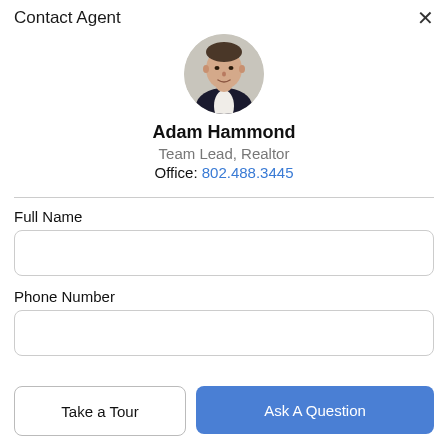Contact Agent
[Figure (photo): Circular profile photo of a man in a dark suit and white shirt, Adam Hammond]
Adam Hammond
Team Lead, Realtor
Office: 802.488.3445
Full Name
Phone Number
Take a Tour
Ask A Question